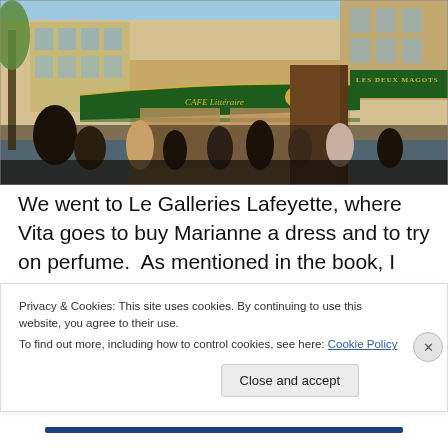[Figure (photo): Street photo of Les Deux Magots cafe in Paris with green awnings reading 'CAFE Littéraire' and 'LES DEUX MAGOTS', crowded with people on the street.]
We went to Le Galleries Lafeyette, where Vita goes to buy Marianne a dress and to try on perfume.  As mentioned in the book, I found out a wonderful french word: 'Sillage'. It refers to how much of your essence you leave behind.  I
Privacy & Cookies: This site uses cookies. By continuing to use this website, you agree to their use.
To find out more, including how to control cookies, see here: Cookie Policy
Close and accept